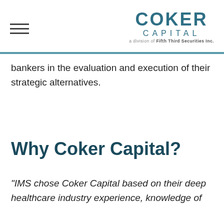COKER CAPITAL a division of Fifth Third Securities Inc.
bankers in the evaluation and execution of their strategic alternatives.
Why Coker Capital?
"IMS chose Coker Capital based on their deep healthcare industry experience, knowledge of